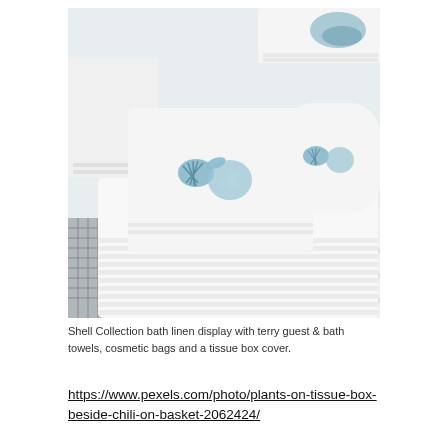[Figure (photo): Shell Collection bath linen display showing white fluffy towels embroidered with blue coastal motifs including seashells, starfish, and sand dollars. Multiple towels of different sizes are stacked and arranged on a white surface, with a wire basket visible in the lower left.]
Shell Collection bath linen display with terry guest & bath towels, cosmetic bags and a tissue box cover.
https://www.pexels.com/photo/plants-on-tissue-box-beside-chili-on-basket-2062424/